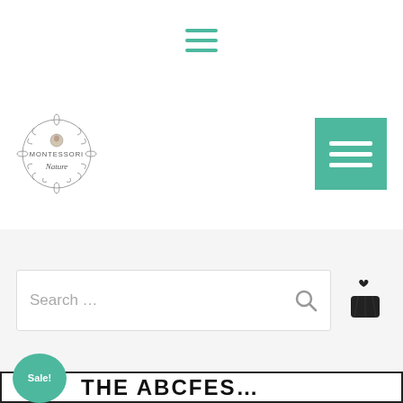Navigation hamburger menu icon (teal)
[Figure (logo): Montessori Nature circular logo with botanical wreath and small bird icon, with cursive text]
[Figure (other): Teal square button with white hamburger menu icon (three horizontal lines)]
[Figure (other): Search bar with placeholder text 'Search ...' and magnifying glass icon, on light grey background, with basket icon to the right]
[Figure (other): Partially visible product card with teal 'Sale!' badge and large bold black 'THE ABCFES...' text on white card with black border]